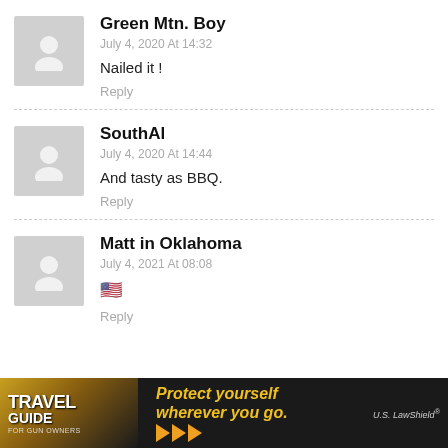Green Mtn. Boy
July 4, 2020 At 14:32
Nailed it !
Reply
SouthAl
July 4, 2020 At 14:44
And tasty as BBQ.
Reply
Matt in Oklahoma
July 4, 2021 At 08:08
🇺🇸
Reply
[Figure (infographic): Travel Guide For Gun Owners ad banner with tagline Protect yourself wherever you go. and US LawShield branding]